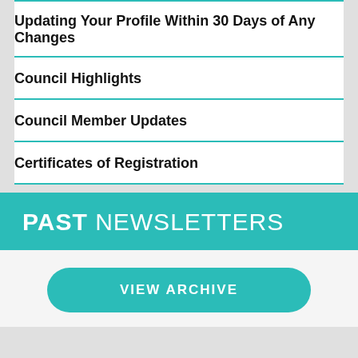Updating Your Profile Within 30 Days of Any Changes
Council Highlights
Council Member Updates
Certificates of Registration
PAST NEWSLETTERS
VIEW ARCHIVE